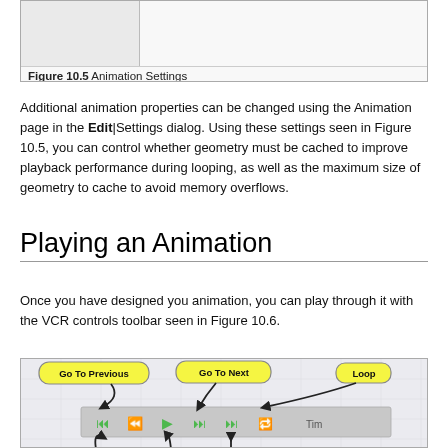[Figure (screenshot): Top portion of Animation Settings dialog screenshot (Figure 10.5) showing a two-column layout]
Figure 10.5 Animation Settings
Additional animation properties can be changed using the Animation page in the Edit|Settings dialog. Using these settings seen in Figure 10.5, you can control whether geometry must be cached to improve playback performance during looping, as well as the maximum size of geometry to cache to avoid memory overflows.
Playing an Animation
Once you have designed you animation, you can play through it with the VCR controls toolbar seen in Figure 10.6.
[Figure (illustration): VCR controls toolbar diagram (Figure 10.6) showing labeled callouts: Go To Previous, Go To Next, Loop, and other playback controls with arrows pointing to toolbar buttons on a gray toolbar with green icons]